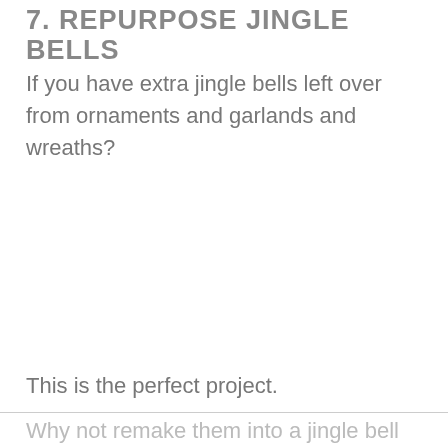7. REPURPOSE JINGLE BELLS
If you have extra jingle bells left over from ornaments and garlands and wreaths?
This is the perfect project.
Why not remake them into a jingle bell tree?